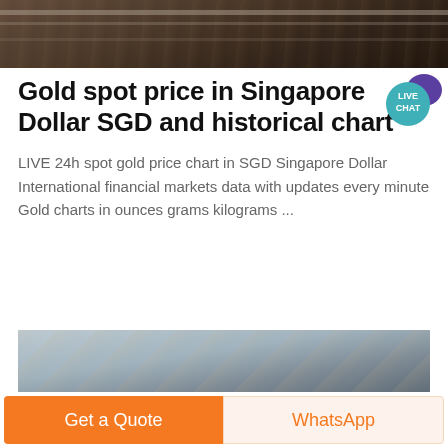[Figure (photo): Top portion of a dark image, appears to show metal railings or industrial/financial imagery with dark brown tones]
[Figure (illustration): Live Chat button — teal circle with 'LIVE CHAT' text and speech bubble icon in purple]
Gold spot price in Singapore Dollar SGD and historical chart
LIVE 24h spot gold price chart in SGD Singapore Dollar International financial markets data with updates every minute Gold charts in ounces grams kilograms ...
[Figure (photo): Bottom partial image showing blue-grey ropes or chains, likely nautical or gold-related imagery]
Get a Quote
WhatsApp